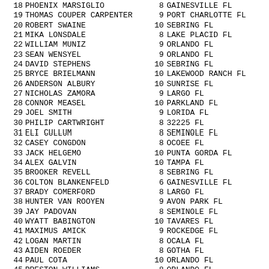18 PHOENIX MARSIGLIO 8 GAINESVILLE FL
19 THOMAS COUPER CARPENTER 9 PORT CHARLOTTE FL
20 ROBERT SWAINE 10 SEBRING FL
21 MIKA LONSDALE 8 LAKE PLACID FL
22 WILLIAM MUNIZ 9 ORLANDO FL
23 SEAN WENSYEL 9 ORLANDO FL
24 DAVID STEPHENS 10 SEBRING FL
25 BRYCE BRIELMANN 10 LAKEWOOD RANCH FL
26 ANDERSON ALBURY 10 SUNRISE FL
27 NICHOLAS ZAMORA 9 LARGO FL
28 CONNOR MEASEL 10 PARKLAND FL
29 JOEL SMITH 9 LORIDA FL
30 PHILIP CARTWRIGHT 8 32225 FL
31 ELI CULLUM 8 SEMINOLE FL
32 CASEY CONGDON 8 OCOEE FL
33 JACK HELGEMO 10 PUNTA GORDA FL
34 ALEX GALVIN 10 TAMPA FL
35 BROOKER REVELL 8 SEBRING FL
36 COLTON BLANKENFELD 6 GAINESVILLE FL
37 BRADY COMERFORD 8 LARGO FL
38 HUNTER VAN ROOYEN 9 AVON PARK FL
39 JAY PADOVAN 8 SEMINOLE FL
40 WYATT BABINGTON 10 TAVARES FL
41 MAXIMUS AMICK 9 ROCKEDGE FL
42 LOGAN MARTIN 8 OCALA FL
43 AIDEN ROEDER 8 GOTHA FL
44 PAUL COTA 10 ORLANDO FL
45 PRESTON WILLIAMS 8 ORLANDO FL
46 NOLAN WORKMAN 8 LARGO FL
47 CHASE BRYANT 8 ZOLFO SPRINGS FL